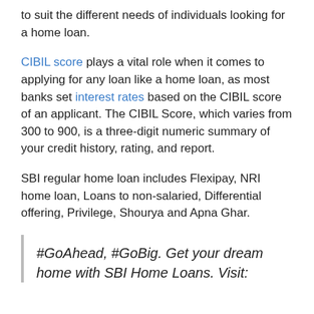to suit the different needs of individuals looking for a home loan.
CIBIL score plays a vital role when it comes to applying for any loan like a home loan, as most banks set interest rates based on the CIBIL score of an applicant. The CIBIL Score, which varies from 300 to 900, is a three-digit numeric summary of your credit history, rating, and report.
SBI regular home loan includes Flexipay, NRI home loan, Loans to non-salaried, Differential offering, Privilege, Shourya and Apna Ghar.
#GoAhead, #GoBig. Get your dream home with SBI Home Loans. Visit: